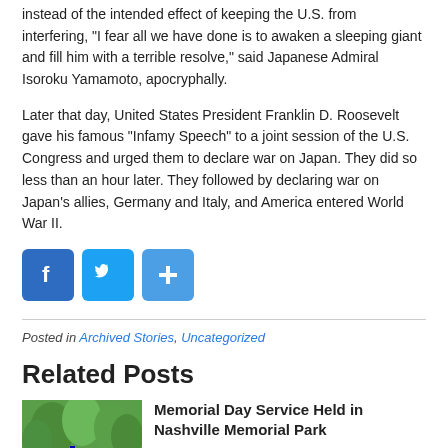instead of the intended effect of keeping the U.S. from interfering, “I fear all we have done is to awaken a sleeping giant and fill him with a terrible resolve,” said Japanese Admiral Isoroku Yamamoto, apocryphally.
Later that day, United States President Franklin D. Roosevelt gave his famous “Infamy Speech” to a joint session of the U.S. Congress and urged them to declare war on Japan. They did so less than an hour later. They followed by declaring war on Japan’s allies, Germany and Italy, and America entered World War II.
[Figure (infographic): Social media share buttons: Facebook (blue with f icon), Twitter (blue with bird icon), Share/Plus (blue with + icon)]
Posted in Archived Stories, Uncategorized
Related Posts
[Figure (photo): Outdoor memorial scene with green trees and flags in foreground]
Memorial Day Service Held in Nashville Memorial Park